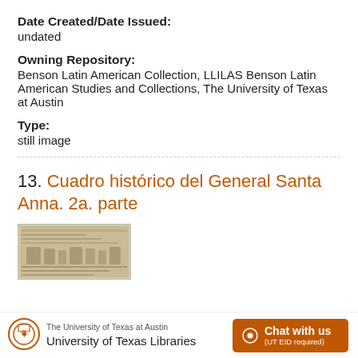Date Created/Date Issued:
undated
Owning Repository:
Benson Latin American Collection, LLILAS Benson Latin American Studies and Collections, The University of Texas at Austin
Type:
still image
13. Cuadro histórico del General Santa Anna. 2a. parte
[Figure (photo): Thumbnail image of a historical document, appears to be a broadside or newspaper page with text and illustrations in sepia tones.]
The University of Texas at Austin University of Texas Libraries  Chat with us (UT EID required)